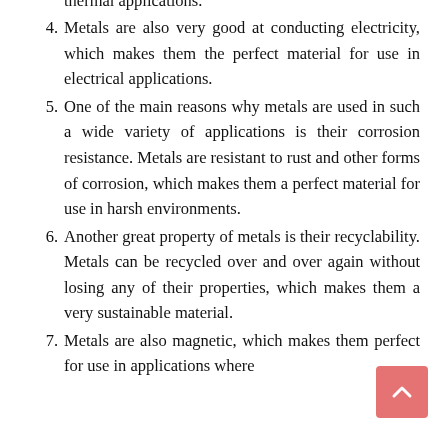which makes them the perfect material for use in thermal applications.
Metals are also very good at conducting electricity, which makes them the perfect material for use in electrical applications.
One of the main reasons why metals are used in such a wide variety of applications is their corrosion resistance. Metals are resistant to rust and other forms of corrosion, which makes them a perfect material for use in harsh environments.
Another great property of metals is their recyclability. Metals can be recycled over and over again without losing any of their properties, which makes them a very sustainable material.
Metals are also magnetic, which makes them perfect for use in applications where